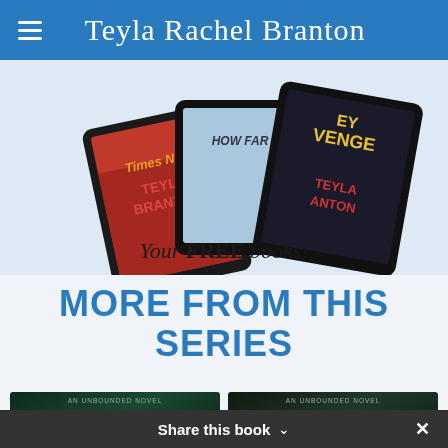Teyla Rachel Branton
[Figure (illustration): Promotional banner showing three e-reader tablets displaying book covers for 'Times Nine' by Teyla Branton, 'How Far', and 'Teyla's Revenge' by Teyla Branton, with text 'Your FREE books!' below them on a light blue background.]
MORE FROM THIS SERIES
[Figure (illustration): Two book covers partially visible at bottom, each labeled 'AN UNBOUNDED NOVEL' with dark green atmospheric backgrounds showing a woman with long hair.]
Share this book ∨  ✕